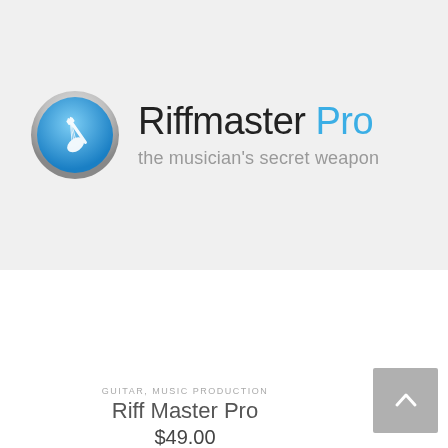[Figure (logo): Riffmaster Pro logo: blue circular icon with guitar graphic on left, text 'Riffmaster Pro' in dark/blue font, subtitle 'the musician's secret weapon' in grey]
[Figure (screenshot): Two-panel white area with a grey eye/visibility icon in the right panel]
GUITAR, MUSIC PRODUCTION
Riff Master Pro
$49.00